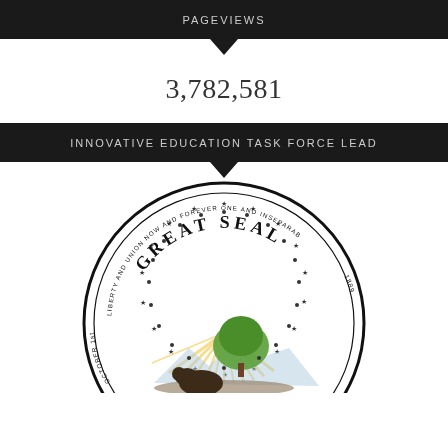PAGEVIEWS
3,782,581
INNOVATIVE EDUCATION TASK FORCE LEAD
[Figure (illustration): Great Seal of North Dakota — circular official state seal with text 'GREAT SEAL', 'LIBERTY AND UNION NOW AND FOREVER ONE AND INSEPARABLE', '1889', 'OCTOBER 1st', featuring a tree, sun rays, mountains, and a bison in the center]